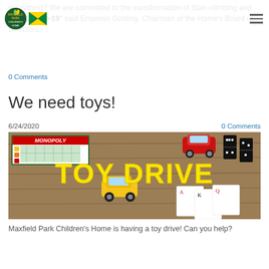Maxfield Park Children's Home — navigation bar with logo and Jamaican flag
everything? We are committed to the transformation of Stair-climbing and post-COVID-19" said Empress Golding, Chairman of the Home's Board of Directors.
0 Comments
We need toys!
6/24/2020
0 Comments
[Figure (photo): Toy Drive promotional image showing board games (Monopoly), toy cars, dominoes, playing cards on a wooden table with bold yellow text reading TOY DRIVE]
Maxfield Park Children's Home is having a toy drive! Can you help?